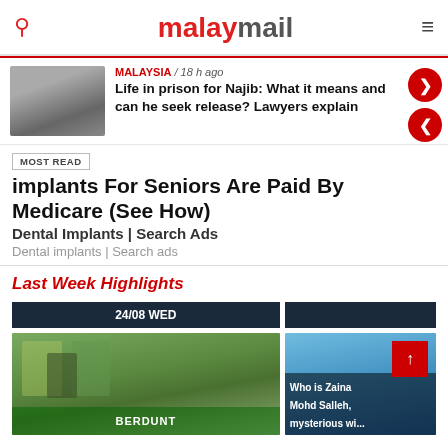malaymail
MALAYSIA / 18 h ago
Life in prison for Najib: What it means and can he seek release? Lawyers explain
MOST READ
implants For Seniors Are Paid By Medicare (See How)
Dental Implants | Search Ads
Dental implants | Search ads
Last Week Highlights
24/08 WED
[Figure (photo): People in high-visibility vests at a street scene]
[Figure (photo): Building with dome/arch structure, blue sky; overlay text: Who is Zaina Mohd Salleh, mysterious wi...]